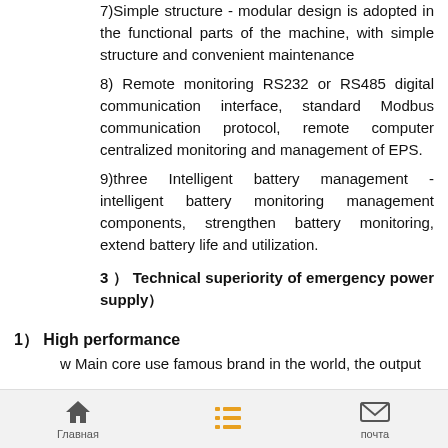7)Simple structure - modular design is adopted in the functional parts of the machine, with simple structure and convenient maintenance
8) Remote monitoring RS232 or RS485 digital communication interface, standard Modbus communication protocol, remote computer centralized monitoring and management of EPS.
9)three Intelligent battery management - intelligent battery monitoring management components, strengthen battery monitoring, extend battery life and utilization.
3 ） Technical superiority of emergency power supply）
1） High performance
w Main core use famous brand in the world, the output